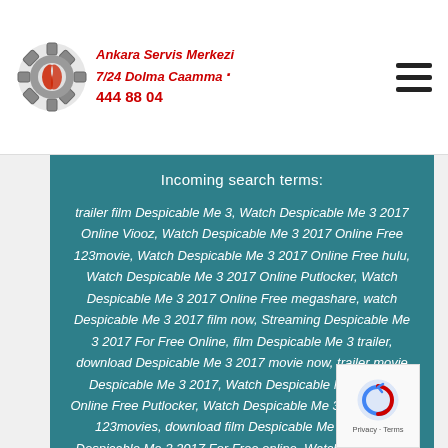Ankara Servis Merkezi 7/24 Dolma Caamma 444 88 04
Incoming search terms:
trailer film Despicable Me 3, Watch Despicable Me 3 2017 Online Viooz, Watch Despicable Me 3 2017 Online Free 123movie, Watch Despicable Me 3 2017 Online Free hulu, Watch Despicable Me 3 2017 Online Putlocker, Watch Despicable Me 3 2017 Online Free megashare, watch Despicable Me 3 2017 film now, Streaming Despicable Me 3 2017 For Free Online, film Despicable Me 3 trailer, download Despicable Me 3 2017 movie now, trailer movie Despicable Me 3 2017, Watch Despicable Me 3 2017 Online Free Putlocker, Watch Despicable Me 3 2017 Online 123movies, download film Despicable Me 3, Watch Despicable Me 3 2017 For Free online, Watch Despicable Me 3 2017 Online Free netflix, download movie Despicable Me 3 2017 now, watch full Despicable Me 3 2017 movie, watch film